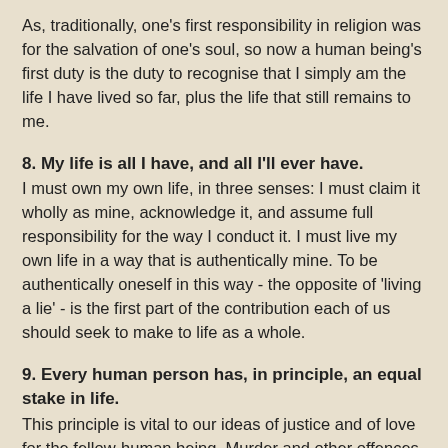As, traditionally, one's first responsibility in religion was for the salvation of one's soul, so now a human being's first duty is the duty to recognise that I simply am the life I have lived so far, plus the life that still remains to me.
8. My life is all I have, and all I'll ever have.
I must own my own life, in three senses: I must claim it wholly as mine, acknowledge it, and assume full responsibility for the way I conduct it. I must live my own life in a way that is authentically mine. To be authentically oneself in this way - the opposite of 'living a lie' - is the first part of the contribution each of us should seek to make to life as a whole.
9. Every human person has, in principle, an equal stake in life.
This principle is vital to our ideas of justice and of love for the fellow-human being. Murder and other offences against the person are almost everywhere regarded as equally serious, whoever the victim is. The love of God is love and fellow-feeling for 'the neighbour' - or the fellow creature - generalised without limit until it becomes the love of all life.